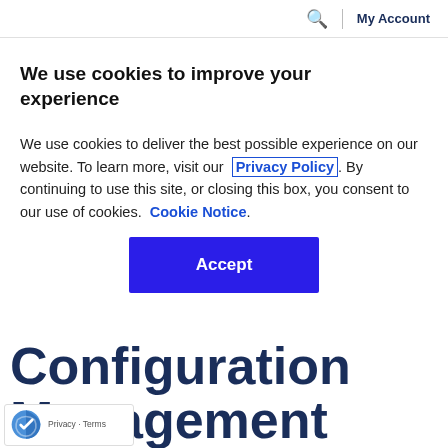Search | My Account
We use cookies to improve your experience
We use cookies to deliver the best possible experience on our website. To learn more, visit our Privacy Policy. By continuing to use this site, or closing this box, you consent to our use of cookies. Cookie Notice.
Accept
Configuration Management